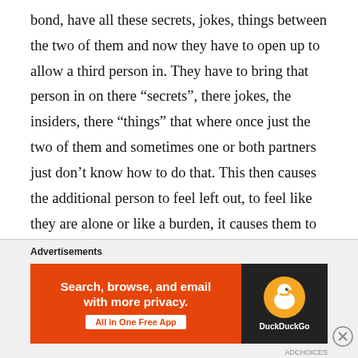bond, have all these secrets, jokes, things between the two of them and now they have to open up to allow a third person in. They have to bring that person in on there “secrets”, there jokes, the insiders, there “things” that where once just the two of them and sometimes one or both partners just don’t know how to do that. This then causes the additional person to feel left out, to feel like they are alone or like a burden, it causes them to not feel included and sad. If not done right polyamory can be a destructive situation for all involved, but especially for the addition that you try to bring
Advertisements
[Figure (other): DuckDuckGo advertisement banner. Orange background on left side with white bold text: 'Search, browse, and email with more privacy.' White pill button: 'All in One Free App'. Right side dark background with DuckDuckGo logo (duck icon in orange circle) and 'DuckDuckGo' text in white.]